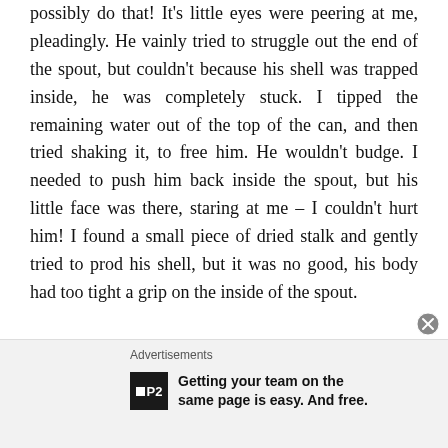possibly do that! It’s little eyes were peering at me, pleadingly. He vainly tried to struggle out the end of the spout, but couldn’t because his shell was trapped inside, he was completely stuck. I tipped the remaining water out of the top of the can, and then tried shaking it, to free him. He wouldn’t budge. I needed to push him back inside the spout, but his little face was there, staring at me – I couldn’t hurt him! I found a small piece of dried stalk and gently tried to prod his shell, but it was no good, his body had too tight a grip on the inside of the spout.

After much gentle prodding he released his grip, and I heard a little thud inside the watering can. I unturned
Advertisements
[Figure (other): Advertisement banner: P2 logo with tagline 'Getting your team on the same page is easy. And free.']